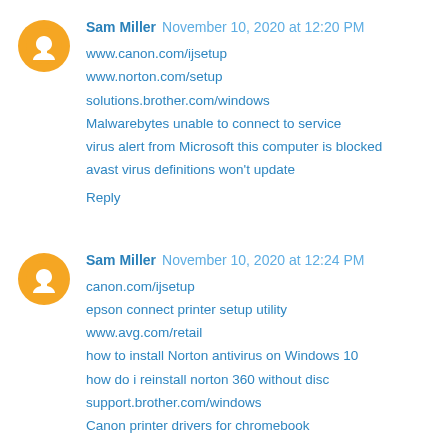Sam Miller November 10, 2020 at 12:20 PM
www.canon.com/ijsetup
www.norton.com/setup
solutions.brother.com/windows
Malwarebytes unable to connect to service
virus alert from Microsoft this computer is blocked
avast virus definitions won't update
Reply
Sam Miller November 10, 2020 at 12:24 PM
canon.com/ijsetup
epson connect printer setup utility
www.avg.com/retail
how to install Norton antivirus on Windows 10
how do i reinstall norton 360 without disc
support.brother.com/windows
Canon printer drivers for chromebook
Reply